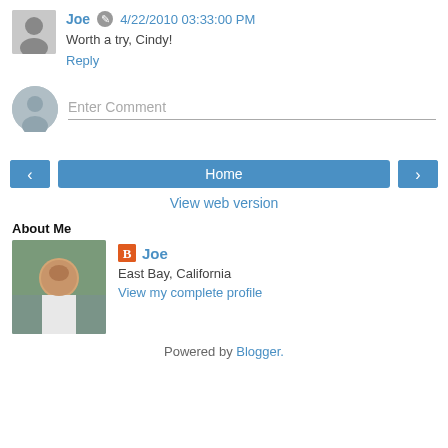Joe  4/22/2010 03:33:00 PM
Worth a try, Cindy!
Reply
[Figure (other): Enter Comment input field with placeholder avatar]
[Figure (other): Navigation buttons: left arrow, Home, right arrow]
View web version
About Me
Joe
East Bay, California
View my complete profile
Powered by Blogger.